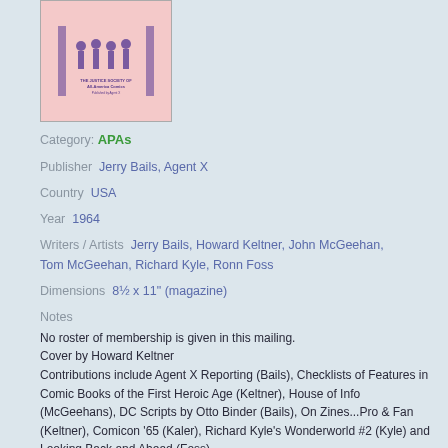[Figure (illustration): Book cover thumbnail for The Justice Society of America publication, pink/salmon background with purple illustration and text]
Category: APAs
Publisher  Jerry Bails, Agent X
Country  USA
Year  1964
Writers / Artists  Jerry Bails, Howard Keltner, John McGeehan, Tom McGeehan, Richard Kyle, Ronn Foss
Dimensions  8½ x 11" (magazine)
Notes
No roster of membership is given in this mailing.
Cover by Howard Keltner
Contributions include Agent X Reporting (Bails), Checklists of Features in Comic Books of the First Heroic Age (Keltner), House of Info (McGeehans), DC Scripts by Otto Binder (Bails), On Zines...Pro & Fan (Keltner), Comicon '65 (Kaler), Richard Kyle's Wonderworld #2 (Kyle) and Looking Back and Ahead (Foss).
Back cover by Ronn Foss